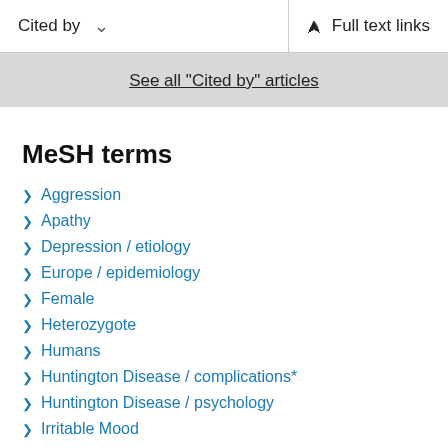Cited by   ∨   Full text links
See all "Cited by" articles
MeSH terms
Aggression
Apathy
Depression / etiology
Europe / epidemiology
Female
Heterozygote
Humans
Huntington Disease / complications*
Huntington Disease / psychology
Irritable Mood
Male